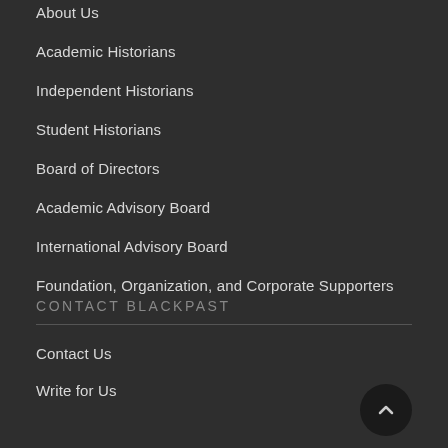About Us
Academic Historians
Independent Historians
Student Historians
Board of Directors
Academic Advisory Board
International Advisory Board
Foundation, Organization, and Corporate Supporters
CONTACT BLACKPAST
Contact Us
Write for Us